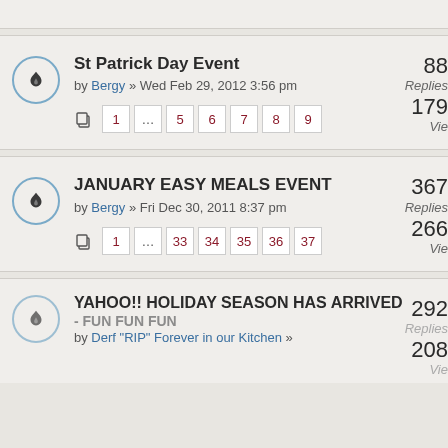St Patrick Day Event by Bergy » Wed Feb 29, 2012 3:56 pm — 88 Replies, 179 Views — Pages: 1 … 5 6 7 8 9
JANUARY EASY MEALS EVENT by Bergy » Fri Dec 30, 2011 8:37 pm — 367 Replies, 266 Views — Pages: 1 … 33 34 35 36 37
YAHOO!! HOLIDAY SEASON HAS ARRIVED - FUN FUN FUN by Derf "RIP" Forever in our Kitchen » — 292 Replies, 208 Views